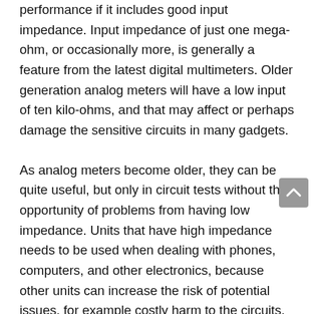because the DMM has little to no effect on circuit performance if it includes good input impedance. Input impedance of just one mega-ohm, or occasionally more, is generally a feature from the latest digital multimeters. Older generation analog meters will have a low input of ten kilo-ohms, and that may affect or perhaps damage the sensitive circuits in many gadgets.
As analog meters become older, they can be quite useful, but only in circuit tests without the opportunity of problems from having low impedance. Units that have high impedance needs to be used when dealing with phones, computers, and other electronics, because other units can increase the risk of potential issues, for example costly harm to the circuits.